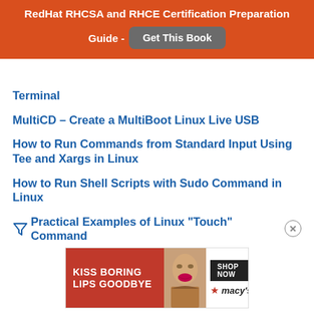RedHat RHCSA and RHCE Certification Preparation Guide - Get This Book
Terminal
MultiCD – Create a MultiBoot Linux Live USB
How to Run Commands from Standard Input Using Tee and Xargs in Linux
How to Run Shell Scripts with Sudo Command in Linux
Practical Examples of Linux “Touch” Command
[Figure (photo): Advertisement banner: KISS BORING LIPS GOODBYE with SHOP NOW button and Macy's logo on dark red background, featuring a woman's face]